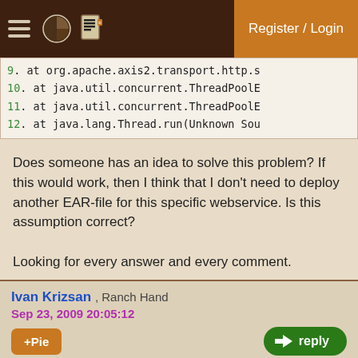Register / Login
[Figure (screenshot): Code block showing stack trace lines 9-12: at org.apache.axis2.transport.http.s, at java.util.concurrent.ThreadPoolE, at java.util.concurrent.ThreadPoolE, at java.lang.Thread.run(Unknown Sou]
Does someone has an idea to solve this problem? If this would work, then I think that I don't need to deploy another EAR-file for this specific webservice. Is this assumption correct?

Looking for every answer and every comment.
Ivan Krizsan , Ranch Hand
Sep 23, 2009 20:05:12
Hi!